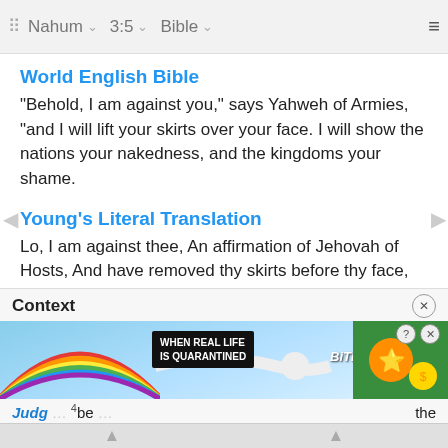Nahum  3:5  Bible
World English Bible
"Behold, I am against you," says Yahweh of Armies, "and I will lift your skirts over your face. I will show the nations your nakedness, and the kingdoms your shame.
Young's Literal Translation
Lo, I am against thee, An affirmation of Jehovah of Hosts, And have removed thy skirts before thy face, And have shewed nations thy nakedness, And kingdoms thy shame,
Additional Translations ...
Context
[Figure (screenshot): Advertisement banner: 'WHEN REAL LIFE IS QUARANTINED' with BitLife logo and colorful game icons, with help and close buttons]
Judg ... 4be ... the